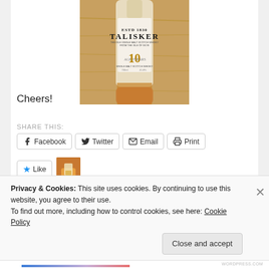[Figure (photo): Talisker 10 Years whisky bottle on a wooden table surface]
Cheers!
SHARE THIS:
Facebook  Twitter  Email  Print
Like
One blogger likes this.
Privacy & Cookies: This site uses cookies. By continuing to use this website, you agree to their use.
To find out more, including how to control cookies, see here: Cookie Policy
Close and accept